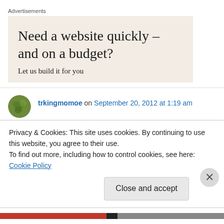Advertisements
[Figure (illustration): Advertisement banner with beige background reading 'Need a website quickly – and on a budget?' and subtext 'Let us build it for you']
trkingmomoe on September 20, 2012 at 1:19 am
The food looked wonderful. If those press glass
Privacy & Cookies: This site uses cookies. By continuing to use this website, you agree to their use.
To find out more, including how to control cookies, see here: Cookie Policy
Close and accept